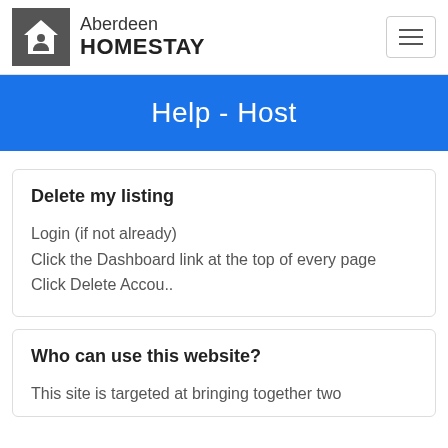Aberdeen HOMESTAY
Help - Host
Delete my listing
Login (if not already)
Click the Dashboard link at the top of every page
Click Delete Accou..
Who can use this website?
This site is targeted at bringing together two